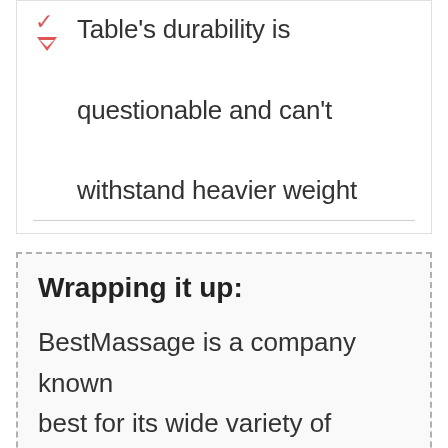Table's durability is questionable and can't withstand heavier weight
Wrapping it up:
BestMassage is a company known best for its wide variety of massage products available. Because of that, you can find value in their portable massage table without the high price. It may not